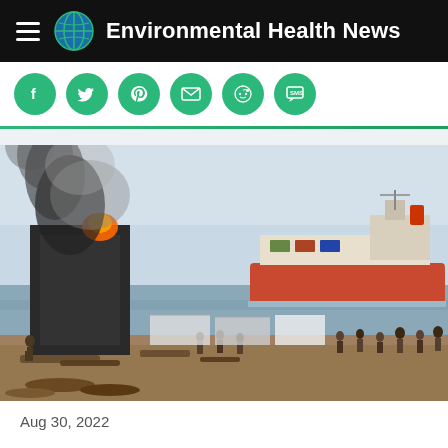Environmental Health News
[Figure (screenshot): Social media share buttons row: Facebook, Twitter, Pinterest, Email, Reddit, SMS — all teal/green circular icons]
[Figure (photo): Ship breaking yard scene with large tanker ship offshore, workers on debris-strewn beach, burning/smoking structure on left producing black smoke, multiple workers visible]
Aug 30, 2022